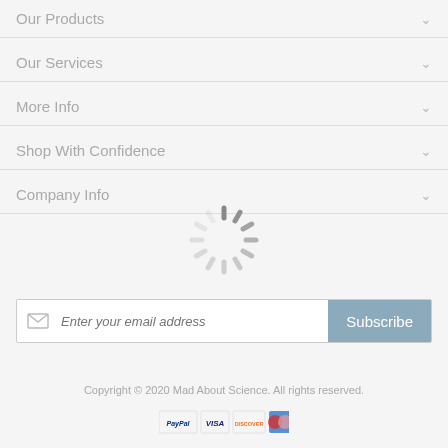Our Products
Our Services
More Info
Shop With Confidence
Company Info
[Figure (other): Loading spinner animation overlay]
Enter your email address
Subscribe
Copyright © 2020 Mad About Science. All rights reserved.
[Figure (other): Payment method icons: PayPal, Visa, Discover, and two credit card logos]